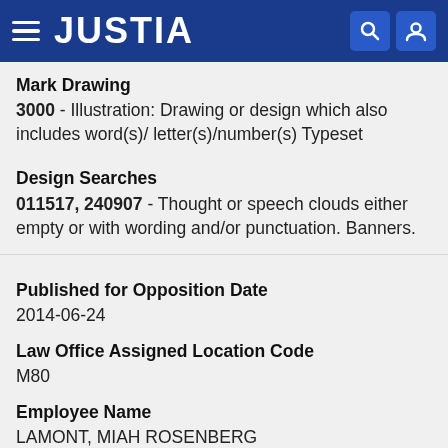JUSTIA
Mark Drawing
3000 - Illustration: Drawing or design which also includes word(s)/ letter(s)/number(s) Typeset
Design Searches
011517, 240907 - Thought or speech clouds either empty or with wording and/or punctuation. Banners.
Published for Opposition Date
2014-06-24
Law Office Assigned Location Code
M80
Employee Name
LAMONT, MIAH ROSENBERG
Statements